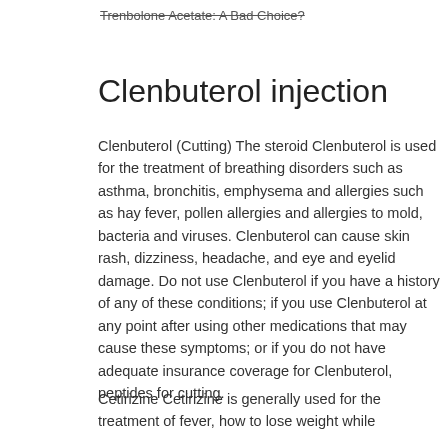Trenbolone Acetate: A Bad Choice?
Clenbuterol injection
Clenbuterol (Cutting) The steroid Clenbuterol is used for the treatment of breathing disorders such as asthma, bronchitis, emphysema and allergies such as hay fever, pollen allergies and allergies to mold, bacteria and viruses. Clenbuterol can cause skin rash, dizziness, headache, and eye and eyelid damage. Do not use Clenbuterol if you have a history of any of these conditions; if you use Clenbuterol at any point after using other medications that may cause these symptoms; or if you do not have adequate insurance coverage for Clenbuterol, peptides for cutting.
Cetirizine Cetirizine is generally used for the treatment of fever, how to lose weight while